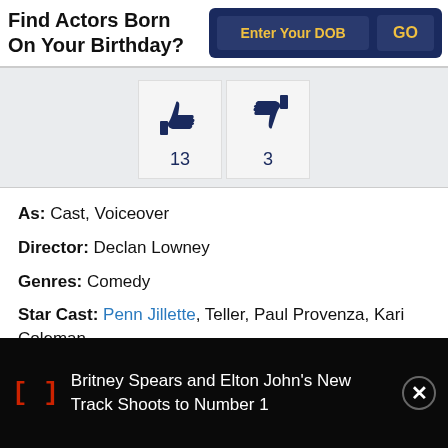Find Actors Born On Your Birthday?
Enter Your DOB | GO
[Figure (infographic): Thumbs up icon with count 13 and thumbs down icon with count 3]
As: Cast, Voiceover
Director: Declan Lowney
Genres: Comedy
Star Cast: Penn Jillette, Teller, Paul Provenza, Kari Coleman
Britney Spears and Elton John's New Track Shoots to Number 1